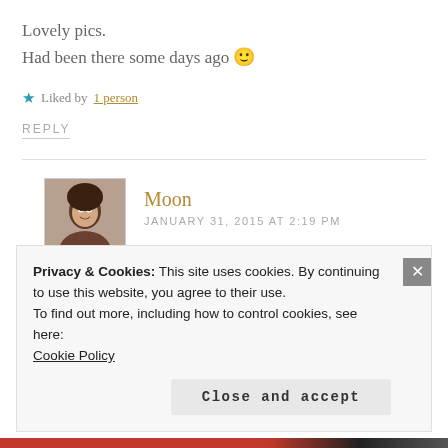Lovely pics.
Had been there some days ago 🙂
★ Liked by 1 person
REPLY
Moon
JANUARY 31, 2015 AT 2:19 PM
Privacy & Cookies: This site uses cookies. By continuing to use this website, you agree to their use.
To find out more, including how to control cookies, see here:
Cookie Policy
Close and accept